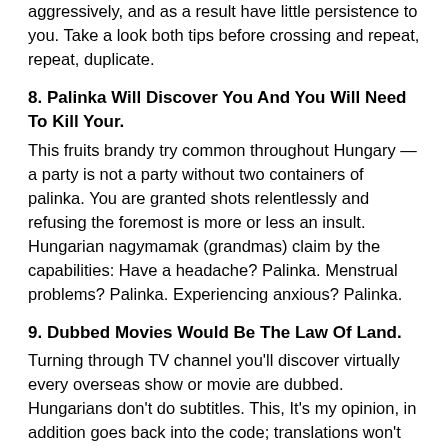aggressively, and as a result have little persistence to you. Take a look both tips before crossing and repeat, repeat, duplicate.
8. Palinka Will Discover You And You Will Need To Kill Your.
This fruits brandy try common throughout Hungary — a party is not a party without two containers of palinka. You are granted shots relentlessly and refusing the foremost is more or less an insult. Hungarian nagymamak (grandmas) claim by the capabilities: Have a headache? Palinka. Menstrual problems? Palinka. Experiencing anxious? Palinka.
9. Dubbed Movies Would Be The Law Of Land.
Turning through TV channel you'll discover virtually every overseas show or movie are dubbed. Hungarians don't do subtitles. This, It's my opinion, in addition goes back into the code; translations won't make the grade. From the subtleties and odd expressions in Hungarian, it merely is practical to dub.
However, it's hilarious for my situation observe Arnold Schwarzenegger regarding the TV and listen his dubbed Hungarian voice—his trademark Austrian accent noticeably